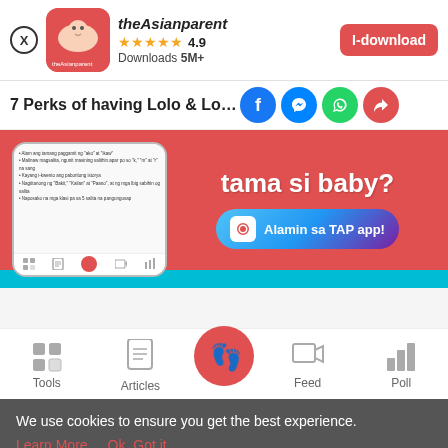[Figure (screenshot): App install banner for theAsianparent app with close button, app icon, rating 4.9, Downloads 5M+, and I-download button]
7 Perks of having Lolo & Lola babysit
[Figure (screenshot): Social share icons: Facebook, Messenger, WhatsApp, Share]
[Figure (screenshot): Promotional banner showing phone mockup and text 'tama si baby?' with Alamin sa TAP app button]
[Figure (screenshot): Bottom navigation bar with Tools, Articles, home (baby feet icon), Feed, Poll]
We use cookies to ensure you get the best experience.
Learn More   Ok, Got it